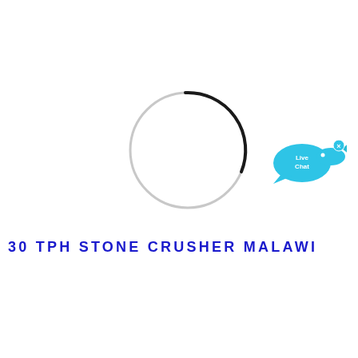[Figure (other): A loading spinner circle — mostly light gray ring with a small dark black arc at the top-right, indicating a loading/spinner UI element]
[Figure (other): Live Chat widget icon — a cyan/blue speech bubble with 'Live Chat' text and a small fish graphic, with an 'x' close button in the top-right corner]
30 TPH STONE CRUSHER MALAWI